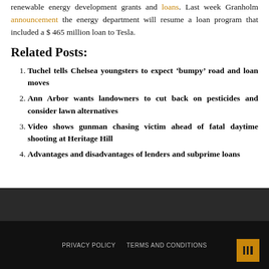renewable energy development grants and loans. Last week Granholm announcement the energy department will resume a loan program that included a $ 465 million loan to Tesla.
Related Posts:
Tuchel tells Chelsea youngsters to expect ‘bumpy’ road and loan moves
Ann Arbor wants landowners to cut back on pesticides and consider lawn alternatives
Video shows gunman chasing victim ahead of fatal daytime shooting at Heritage Hill
Advantages and disadvantages of lenders and subprime loans
PRIVACY POLICY   TERMS AND CONDITIONS